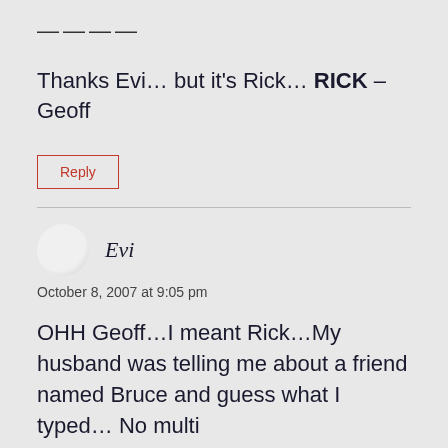————
Thanks Evi… but it's Rick… RICK – Geoff
Reply
Evi
October 8, 2007 at 9:05 pm
OHH Geoff…I meant Rick…My husband was telling me about a friend named Bruce and guess what I typed… No multi